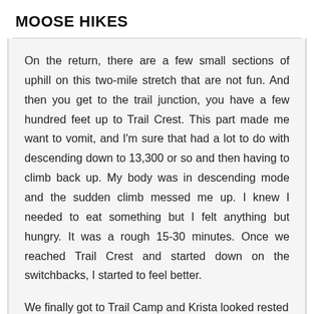MOOSE HIKES
On the return, there are a few small sections of uphill on this two-mile stretch that are not fun. And then you get to the trail junction, you have a few hundred feet up to Trail Crest. This part made me want to vomit, and I'm sure that had a lot to do with descending down to 13,300 or so and then having to climb back up. My body was in descending mode and the sudden climb messed me up. I knew I needed to eat something but I felt anything but hungry. It was a rough 15-30 minutes. Once we reached Trail Crest and started down on the switchbacks, I started to feel better.
We finally got to Trail Camp and Krista looked rested